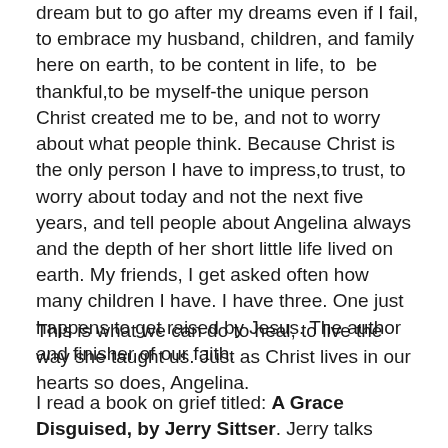dream but to go after my dreams even if I fail, to embrace my husband, children, and family here on earth, to be content in life, to  be thankful,to be myself-the unique person Christ created me to be, and not to worry about what people think. Because Christ is the only person I have to impress,to trust, to worry about today and not the next five years, and tell people about Angelina always and the depth of her short little life lived on earth. My friends, I get asked often how many children I have. I have three. One just happens to get raised by Jesus. The author and finisher of our faith.

This is what we can do to heal, to live the way she taught us. Just as Christ lives in our hearts so does, Angelina.

I read a book on grief titled: A Grace Disguised, by Jerry Sittser. Jerry talks about his journey through grief (he lost his wife, mother, and his daughter in a car accident...